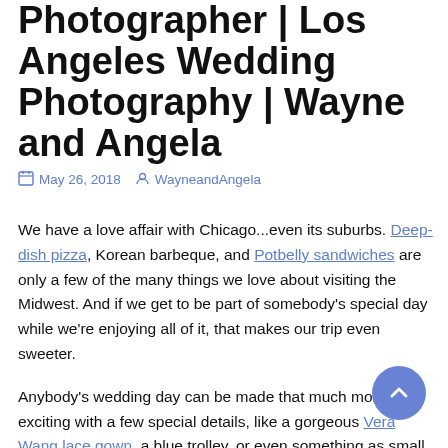Photographer | Los Angeles Wedding Photography | Wayne and Angela
May 26, 2018   WayneandAngela
We have a love affair with Chicago...even its suburbs. Deep-dish pizza, Korean barbeque, and Potbelly sandwiches are only a few of the many things we love about visiting the Midwest. And if we get to be part of somebody's special day while we're enjoying all of it, that makes our trip even sweeter.
Anybody's wedding day can be made that much more exciting with a few special details, like a gorgeous Vera Wang lace gown, a blue trolley, or even something as small as a cake topper you absolutely love. But what could be more special than having